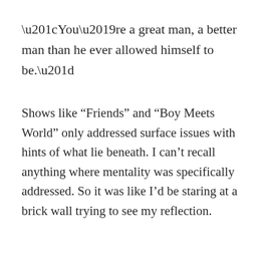“You’re a great man, a better man than he ever allowed himself to be.”
Shows like “Friends” and “Boy Meets World” only addressed surface issues with hints of what lie beneath. I can’t recall anything where mentality was specifically addressed. So it was like I’d be staring at a brick wall trying to see my reflection.